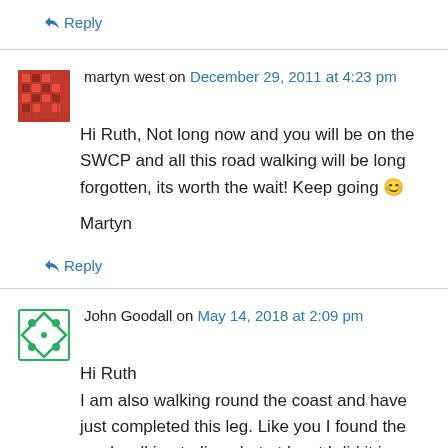↳ Reply
martyn west on December 29, 2011 at 4:23 pm
Hi Ruth, Not long now and you will be on the SWCP and all this road walking will be long forgotten, its worth the wait! Keep going 🙂

Martyn
↳ Reply
John Goodall on May 14, 2018 at 2:09 pm
Hi Ruth
I am also walking round the coast and have just completed this leg. Like you I found the road walking tedious but at least I did it in glorious